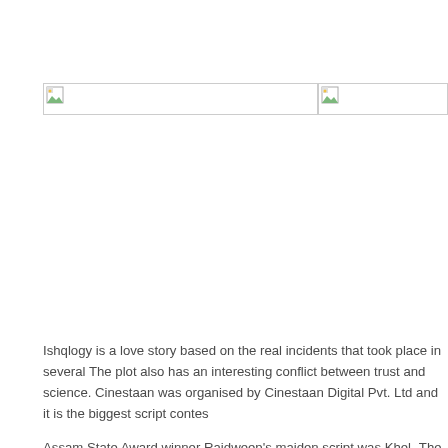[Figure (photo): Two image placeholders shown side by side with broken image icons, indicating images failed to load]
Ishqlogy is a love story based on the real incidents that took place in several The plot also has an interesting conflict between trust and science. Cinestaan was organised by Cinestaan Digital Pvt. Ltd and it is the biggest script contes
Assam State Award winner Rajdweep's maiden script was Khel- The Game,